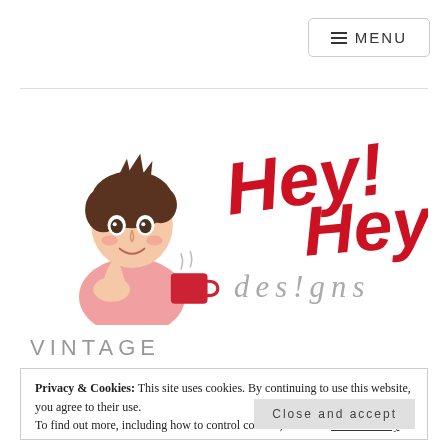MENU
[Figure (logo): Hey Hey Designs logo with illustrated woman holding a red coffee mug and stylized red hand-lettered text 'Hey!Hey!' above gray cursive text 'des!gns']
VINTAGE
Privacy & Cookies: This site uses cookies. By continuing to use this website, you agree to their use.
To find out more, including how to control cookies, see here: Cookie Policy
Close and accept